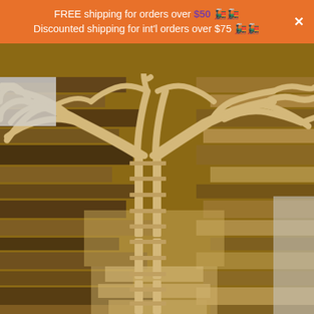[Figure (photo): Aerial view of wooden toy train tracks arranged in a tree-like branching pattern on a hardwood floor. The tracks form a trunk at the bottom and branch out extensively at the top, resembling a tree canopy.]
FREE shipping for orders over $50 🚂🚂
Discounted shipping for int'l orders over $75 🚂🚂